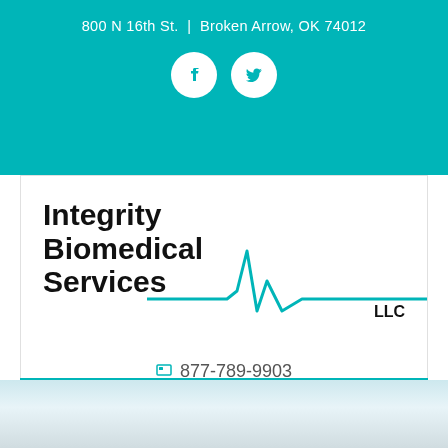800 N 16th St. | Broken Arrow, OK 74012
[Figure (logo): Social media icons: Facebook and Twitter circles on teal background]
[Figure (logo): Integrity Biomedical Services LLC logo with teal heartbeat/EKG line graphic]
877-789-9903
michele@integritybiomed.com